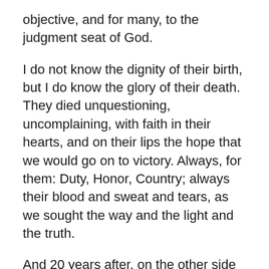objective, and for many, to the judgment seat of God.
I do not know the dignity of their birth, but I do know the glory of their death. They died unquestioning, uncomplaining, with faith in their hearts, and on their lips the hope that we would go on to victory. Always, for them: Duty, Honor, Country; always their blood and sweat and tears, as we sought the way and the light and the truth.
And 20 years after, on the other side of the globe, again the filth of murky foxholes, the stench of ghostly trenches, the slime of dripping dugouts; those boiling suns of relentless heat, those torrential rains of devastating storms; the loneliness and utter desolation of jungle trails; the bitterness of long separation from those they loved and cherished; the deadly pestilence of tropical disease; the horror of stricken areas of war; their resolute and